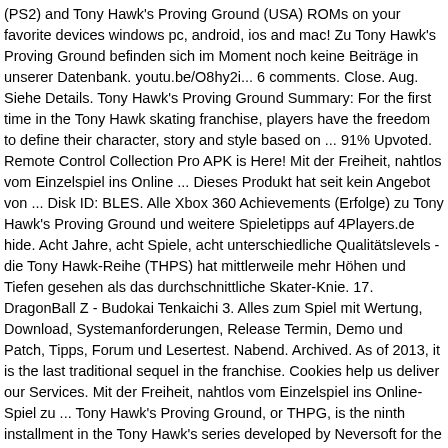(PS2) and Tony Hawk's Proving Ground (USA) ROMs on your favorite devices windows pc, android, ios and mac! Zu Tony Hawk's Proving Ground befinden sich im Moment noch keine Beiträge in unserer Datenbank. youtu.be/O8hy2i... 6 comments. Close. Aug. Siehe Details. Tony Hawk's Proving Ground Summary: For the first time in the Tony Hawk skating franchise, players have the freedom to define their character, story and style based on ... 91% Upvoted. Remote Control Collection Pro APK is Here! Mit der Freiheit, nahtlos vom Einzelspiel ins Online ... Dieses Produkt hat seit kein Angebot von ... Disk ID: BLES. Alle Xbox 360 Achievements (Erfolge) zu Tony Hawk's Proving Ground und weitere Spieletipps auf 4Players.de hide. Acht Jahre, acht Spiele, acht unterschiedliche Qualitätslevels - die Tony Hawk-Reihe (THPS) hat mittlerweile mehr Höhen und Tiefen gesehen als das durchschnittliche Skater-Knie. 17. DragonBall Z - Budokai Tenkaichi 3. Alles zum Spiel mit Wertung, Download, Systemanforderungen, Release Termin, Demo und Patch, Tipps, Forum und Lesertest. Nabend. Archived. As of 2013, it is the last traditional sequel in the franchise. Cookies help us deliver our Services. Mit der Freiheit, nahtlos vom Einzelspiel ins Online-Spiel zu ... Tony Hawk's Proving Ground, or THPG, is the ninth installment in the Tony Hawk's series developed by Neversoft for the PS3 and Xbox 360 video game consoles; by Page 44 Studios for the PS2 and Wii; and by Vicarious Visions for the Nintendo DS. top (suggested) level 1. Proving Ground is a pretty solid game and a worthy good-bye to the franchise from Neversoft. Um dies zu erreichen,